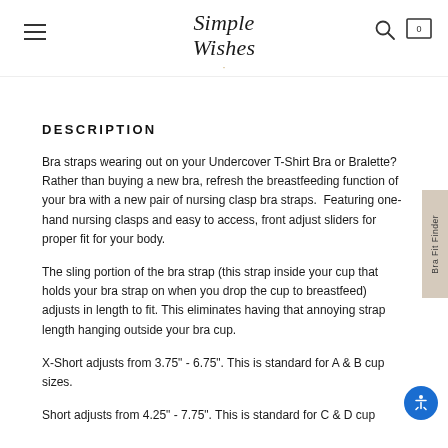Simple Wishes
DESCRIPTION
Bra straps wearing out on your Undercover T-Shirt Bra or Bralette? Rather than buying a new bra, refresh the breastfeeding function of your bra with a new pair of nursing clasp bra straps.  Featuring one-hand nursing clasps and easy to access, front adjust sliders for proper fit for your body.
The sling portion of the bra strap (this strap inside your cup that holds your bra strap on when you drop the cup to breastfeed) adjusts in length to fit. This eliminates having that annoying strap length hanging outside your bra cup.
X-Short adjusts from 3.75" - 6.75". This is standard for A & B cup sizes.
Short adjusts from 4.25" - 7.75". This is standard for C & D cup...